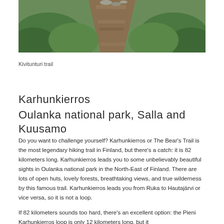[Figure (photo): A hiking trail winding through rocky terrain surrounded by green vegetation and shrubs in Finnish wilderness.]
Kivitunturi trail
Karhunkierros
Oulanka national park, Salla and Kuusamo
Do you want to challenge yourself? Karhunkierros or The Bear's Trail is the most legendary hiking trail in Finland, but there's a catch: it is 82 kilometers long. Karhunkierros leads you to some unbelievably beautiful sights in Oulanka national park in the North-East of Finland. There are lots of open huts, lovely forests, breathtaking views, and true wilderness by this famous trail. Karhunkierros leads you from Ruka to Hautajärvi or vice versa, so it is not a loop.
If 82 kilometers sounds too hard, there's an excellent option: the Pieni Karhunkierros loop is only 12 kilometers long, but it